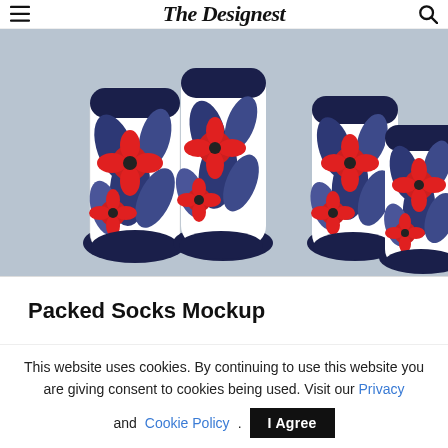The Designest
[Figure (photo): Product mockup photo showing four socks with tropical hibiscus and palm leaf pattern in red and blue/navy on white background, arranged in two pairs on a light blue-grey background.]
Packed Socks Mockup
This website uses cookies. By continuing to use this website you are giving consent to cookies being used. Visit our Privacy and Cookie Policy.
I Agree